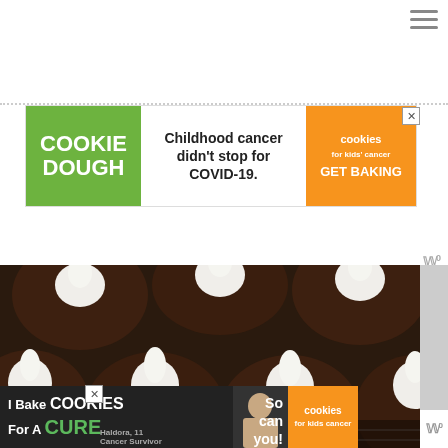[Figure (other): Hamburger menu icon (three horizontal lines) in top right corner]
[Figure (other): Advertisement banner: Cookie Dough / Childhood cancer didn't stop for COVID-19. / cookies for kids cancer GET BAKING]
[Figure (photo): Close-up photograph of chocolate cupcakes with white cream/marshmallow filling on top, arranged on a cooling rack]
[Figure (other): Advertisement banner at bottom: I Bake COOKIES For A CURE / Haldora, 11 Cancer Survivor / So can you! / cookies for kids cancer logo]